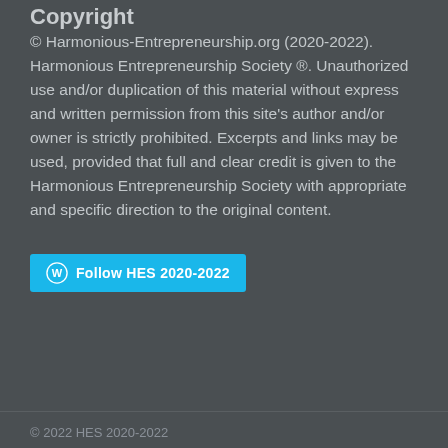Copyright
© Harmonious-Entrepreneurship.org (2020-2022). Harmonious Entrepreneurship Society ®. Unauthorized use and/or duplication of this material without express and written permission from this site's author and/or owner is strictly prohibited. Excerpts and links may be used, provided that full and clear credit is given to the Harmonious Entrepreneurship Society with appropriate and specific direction to the original content.
[Figure (other): WordPress Follow button with cyan background reading 'Follow HES 2020-2022']
© 2022 HES 2020-2022